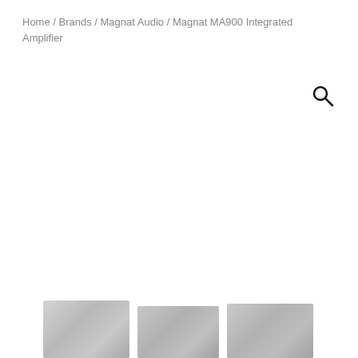Home / Brands / Magnat Audio / Magnat MA900 Integrated Amplifier
[Figure (other): Search icon (magnifying glass)]
[Figure (photo): Partial product images of Magnat MA900 Integrated Amplifier shown at the bottom of the page, three images side by side partially cropped]